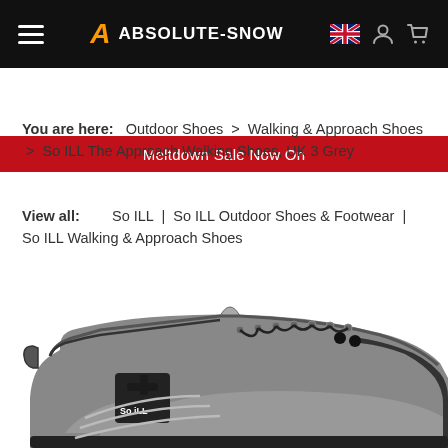ABSOLUTE-SNOW
Meltdown Sale Now On
You are here:   Outdoor Shoes  >  Walking & Approach Shoes  >  So ILL The Approach Walking Shoes, UK 3 Grey
View all:        So ILL  |  So ILL Outdoor Shoes & Footwear  |  So ILL Walking & Approach Shoes
[Figure (photo): Grey So ILL The Approach hiking/walking shoe with black laces, black toe cap, and black So ILL plus logo patch on the side, shown in black and white]